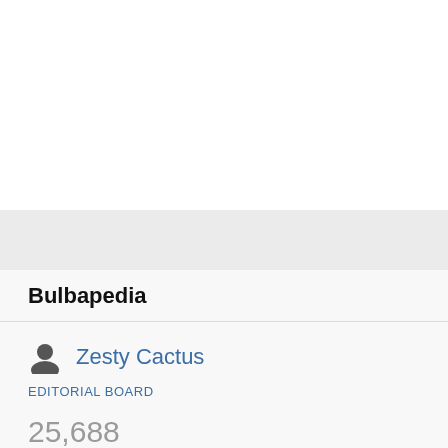Bulbapedia
Zesty Cactus
EDITORIAL BOARD
25,688
EDITS